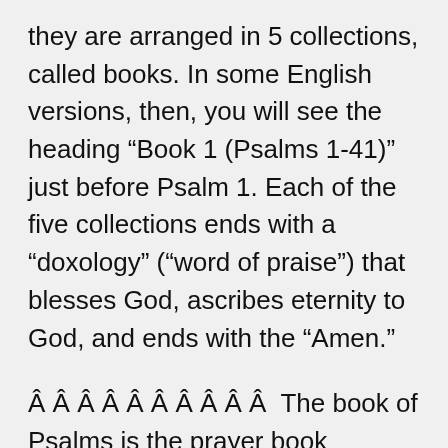they are arranged in 5 collections, called books. In some English versions, then, you will see the heading “Book 1 (Psalms 1-41)” just before Psalm 1. Each of the five collections ends with a “doxology” (“word of praise”) that blesses God, ascribes eternity to God, and ends with the “Amen.”
Â Â Â Â Â Â Â Â Â Â  The book of Psalms is the prayer book ofIsraeland the hymn book ofIsrael, but it is so much more. It is a spiritual journal. It is a faith perspective into the human condition. It is a book of instructions for the quest of holiness. It is a window that looks into